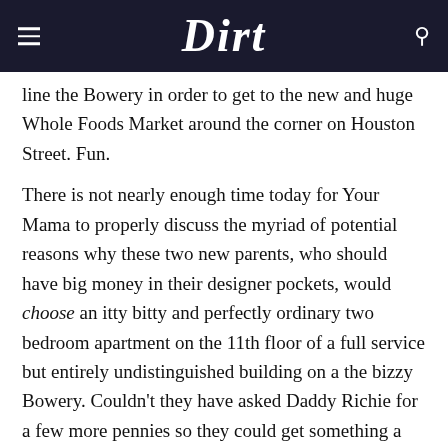Dirt
line the Bowery in order to get to the new and huge Whole Foods Market around the corner on Houston Street. Fun.
There is not nearly enough time today for Your Mama to properly discuss the myriad of potential reasons why these two new parents, who should have big money in their designer pockets, would choose an itty bitty and perfectly ordinary two bedroom apartment on the 11th floor of a full service but entirely undistinguished building on a the bizzy Bowery. Couldn't they have asked Daddy Richie for a few more pennies so they could get something a little more celeb-ish?